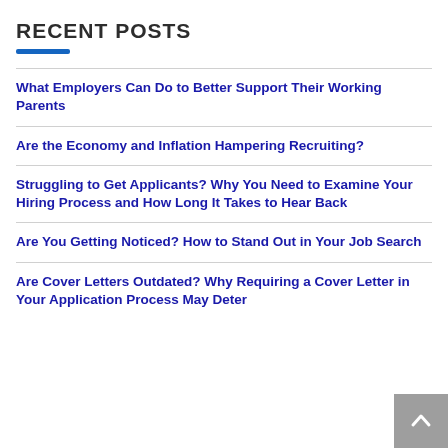RECENT POSTS
What Employers Can Do to Better Support Their Working Parents
Are the Economy and Inflation Hampering Recruiting?
Struggling to Get Applicants? Why You Need to Examine Your Hiring Process and How Long It Takes to Hear Back
Are You Getting Noticed? How to Stand Out in Your Job Search
Are Cover Letters Outdated? Why Requiring a Cover Letter in Your Application Process May Deter